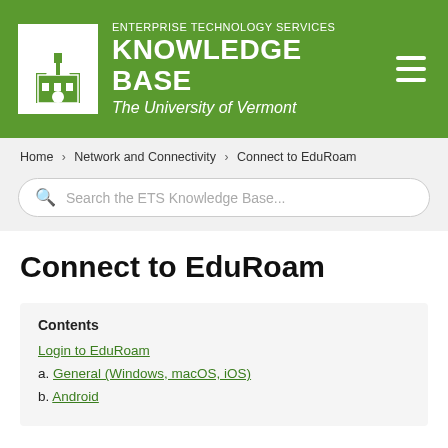[Figure (logo): Enterprise Technology Services Knowledge Base – The University of Vermont header with green background, UVM building logo, and hamburger menu icon]
Home > Network and Connectivity > Connect to EduRoam
Search the ETS Knowledge Base...
Connect to EduRoam
Contents
Login to EduRoam
a.  General (Windows, macOS, iOS)
b.  Android